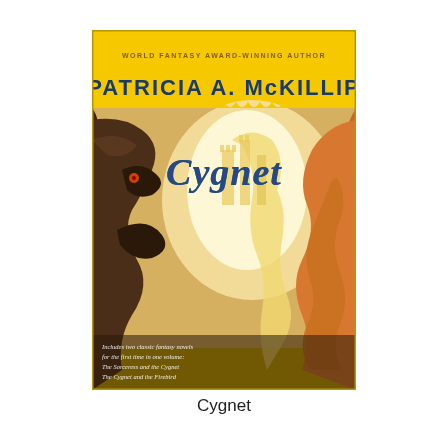[Figure (illustration): Book cover of 'Cygnet' by Patricia A. McKillip. Yellow banner at top reads 'WORLD FANTASY AWARD-WINNING AUTHOR' and 'PATRICIA A. McKILLIP' in large letters. Below is a fantasy illustration featuring a large dark creature on the left and a glowing bright golden scene in the center with a serpentine dragon and castle-like structures. The title 'Cygnet' appears in large dark blue cursive letters. Bottom left text reads 'Includes two classic fantasy novels for the first time in one volume: The Sorceress and the Cygnet / The Cygnet and the Firebird' in italic.]
Cygnet